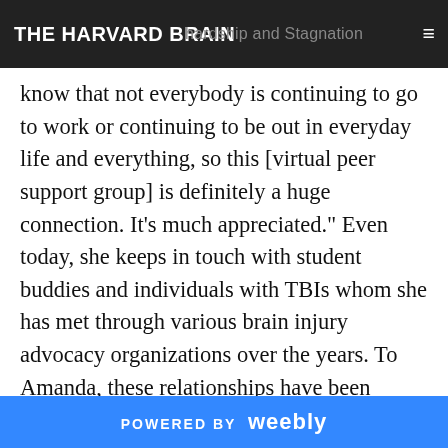THE HARVARD BRAIN | hardship and Stagnation
know that not everybody is continuing to go to work or continuing to be out in everyday life and everything, so this [virtual peer support group] is definitely a huge connection. It’s much appreciated.” Even today, she keeps in touch with student buddies and individuals with TBIs whom she has met through various brain injury advocacy organizations over the years. To Amanda, these relationships have been constant sources of encouragement, inspiring her to advocate for others with TBIs in her community. Since sustaining her TBI, Amanda has run for Boston City Council and worked for the Brain Injury Association of Massachusetts. “I don’t think that
POWERED BY weebly